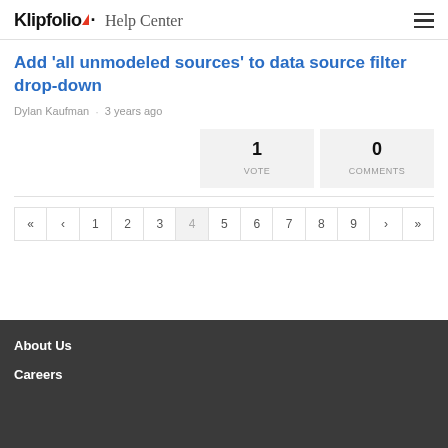Klipfolio Help Center
Add 'all unmodeled sources' to data source filter drop-down
Dylan Kaufman · 3 years ago
1 VOTE   0 COMMENTS
« ‹ 1 2 3 4 5 6 7 8 9 › »
About Us
Careers